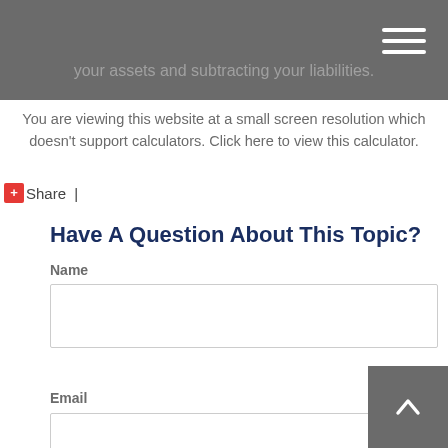your assets and subtracting your liabilities.
You are viewing this website at a small screen resolution which doesn't support calculators. Click here to view this calculator.
+ Share |
Have A Question About This Topic?
Name
Email